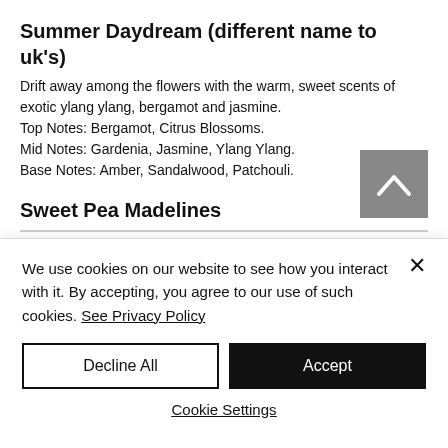Summer Daydream (different name to uk's)
Drift away among the flowers with the warm, sweet scents of exotic ylang ylang, bergamot and jasmine. Top Notes: Bergamot, Citrus Blossoms. Mid Notes: Gardenia, Jasmine, Ylang Ylang. Base Notes: Amber, Sandalwood, Patchouli.
Sweet Pea Madelines
We use cookies on our website to see how you interact with it. By accepting, you agree to our use of such cookies. See Privacy Policy